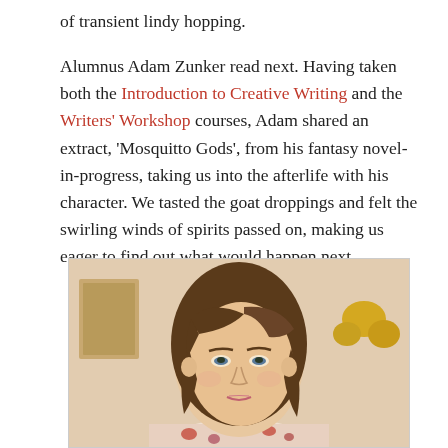of transient lindy hopping.
Alumnus Adam Zunker read next. Having taken both the Introduction to Creative Writing and the Writers' Workshop courses, Adam shared an extract, 'Mosquitto Gods', from his fantasy novel-in-progress, taking us into the afterlife with his character. We tasted the goat droppings and felt the swirling winds of spirits passed on, making us eager to find out what would happen next.
[Figure (photo): Portrait photo of a woman with dark brown shoulder-length hair, looking slightly to the side, wearing a floral top, with a warm indoor background.]